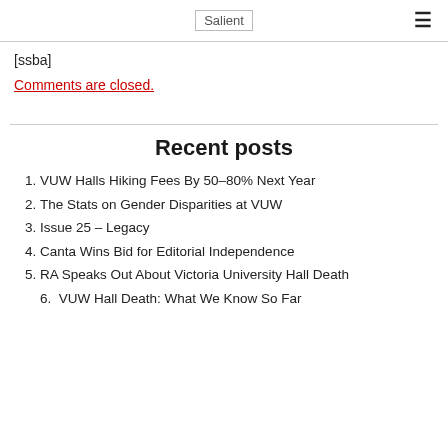Salient
[ssba]
Comments are closed.
Recent posts
VUW Halls Hiking Fees By 50–80% Next Year
The Stats on Gender Disparities at VUW
Issue 25 – Legacy
Canta Wins Bid for Editorial Independence
RA Speaks Out About Victoria University Hall Death
VUW Hall Death: What We Know So Far